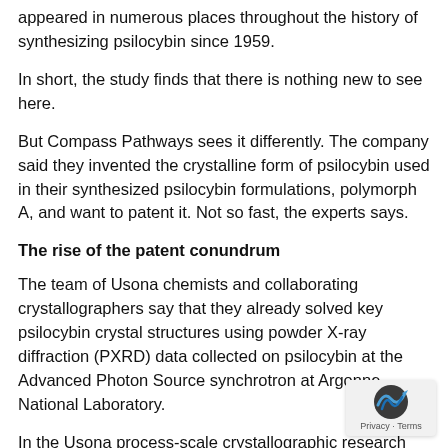appeared in numerous places throughout the history of synthesizing psilocybin since 1959.
In short, the study finds that there is nothing new to see here.
But Compass Pathways sees it differently. The company said they invented the crystalline form of psilocybin used in their synthesized psilocybin formulations, polymorph A, and want to patent it. Not so fast, the experts says.
The rise of the patent conundrum
The team of Usona chemists and collaborating crystallographers say that they already solved key psilocybin crystal structures using powder X-ray diffraction (PXRD) data collected on psilocybin at the Advanced Photon Source synchrotron at Argonne National Laboratory.
In the Usona process-scale crystallographic research investigation, three crystalline forms of psilocybin were repeatedly observed: hydrate A, polymorph A, and